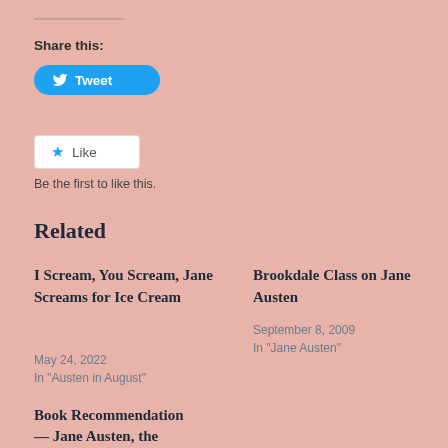Share this:
[Figure (other): Tweet button with Twitter bird icon]
[Figure (other): Like button with star icon]
Be the first to like this.
Related
I Scream, You Scream, Jane Screams for Ice Cream
May 24, 2022
In "Austen in August"
Brookdale Class on Jane Austen
September 8, 2009
In "Jane Austen"
Book Recommendation
— Jane Austen, the